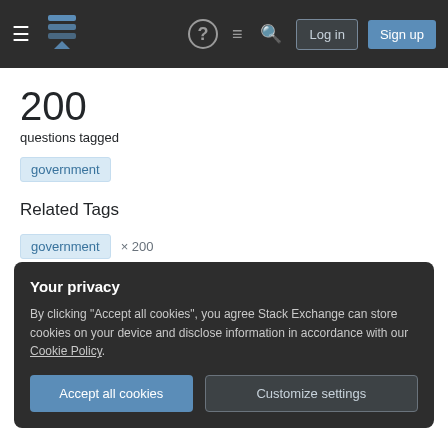Stack Exchange navigation header with hamburger menu, logo, help, chat, search icons, Log in and Sign up buttons
200
questions tagged
government
Related Tags
government × 200
data-request × 85
usa × 75
Your privacy
By clicking "Accept all cookies", you agree Stack Exchange can store cookies on your device and disclose information in accordance with our Cookie Policy.
Accept all cookies   Customize settings